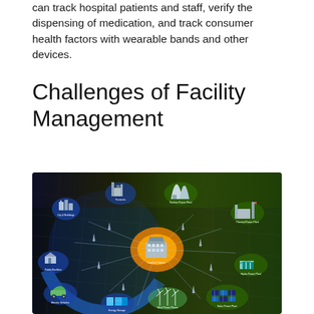can track hospital patients and staff, verify the dispensing of medication, and track consumer health factors with wearable bands and other devices.
Challenges of Facility Management
[Figure (infographic): An aerial/isometric infographic showing a smart energy and facility management network. A central orange-highlighted Control Center building is connected via transmission towers to various facilities including: City & Buildings, Public Facilities, Electric Vehicles, Energy Storage, Nuclear Power Plant, Thermal Power Plant, Hydro Power Plant, Solar Power Plant, Wind Power Plants. The left half has a blue overlay with a curved arc representing local/urban facilities, and the right half shows a green-tinted background representing power generation sources.]